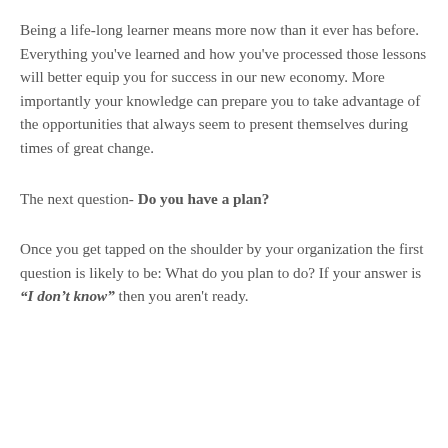Being a life-long learner means more now than it ever has before. Everything you've learned and how you've processed those lessons will better equip you for success in our new economy. More importantly your knowledge can prepare you to take advantage of the opportunities that always seem to present themselves during times of great change.
The next question- Do you have a plan?
Once you get tapped on the shoulder by your organization the first question is likely to be: What do you plan to do? If your answer is “I don’t know” then you aren't ready.